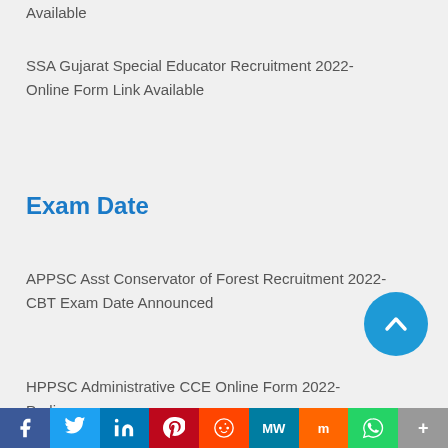Available
SSA Gujarat Special Educator Recruitment 2022- Online Form Link Available
Exam Date
APPSC Asst Conservator of Forest Recruitment 2022- CBT Exam Date Announced
HPPSC Administrative CCE Online Form 2022- Prelims